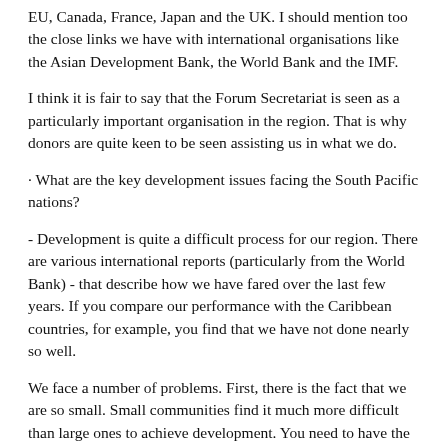EU, Canada, France, Japan and the UK. I should mention too the close links we have with international organisations like the Asian Development Bank, the World Bank and the IMF.
I think it is fair to say that the Forum Secretariat is seen as a particularly important organisation in the region. That is why donors are quite keen to be seen assisting us in what we do.
· What are the key development issues facing the South Pacific nations?
- Development is quite a difficult process for our region. There are various international reports (particularly from the World Bank) - that describe how we have fared over the last few years. If you compare our performance with the Caribbean countries, for example, you find that we have not done nearly so well.
We face a number of problems. First, there is the fact that we are so small. Small communities find it much more difficult than large ones to achieve development. You need to have the market and the critical mass to do all the things that are